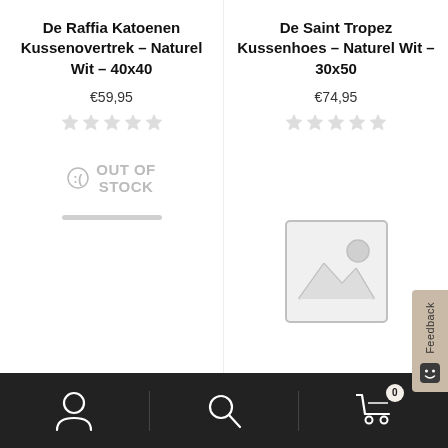De Raffia Katoenen Kussenovertrek – Naturel Wit – 40x40
€59,95
De Saint Tropez Kussenhoes – Naturel Wit – 30x50
€74,95
OUT OF STOCK
[Figure (illustration): Placeholder image with mountain and sun icon in grey border]
[Figure (other): Feedback tab on right side with rotated text 'Feedback' and smiley icon]
Navigation bar with person icon, search icon, and cart icon showing 0 items